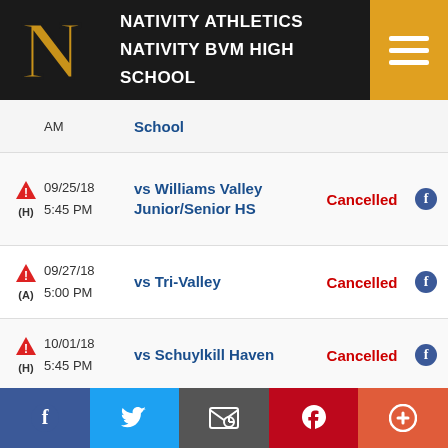NATIVITY ATHLETICS NATIVITY BVM HIGH SCHOOL
AM — School (partial row)
(H) 09/25/18 5:45 PM vs Williams Valley Junior/Senior HS — Cancelled
(A) 09/27/18 5:00 PM vs Tri-Valley — Cancelled
(H) 10/01/18 5:45 PM vs Schuylkill Haven — Cancelled
10/03/18 vs Minersville Area — Cancelled
Facebook | Twitter | Email | Pinterest | More